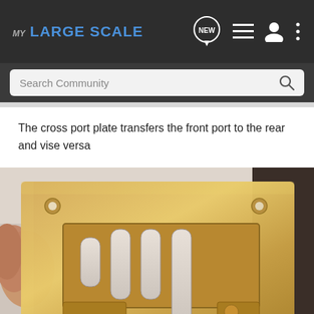MY LARGE SCALE
The cross port plate transfers the front port to the rear and vise versa
[Figure (photo): Close-up photograph of a brass cross port plate component, showing a rectangular brass plate with multiple elongated slots and mounting holes, held by a hand on the left side.]